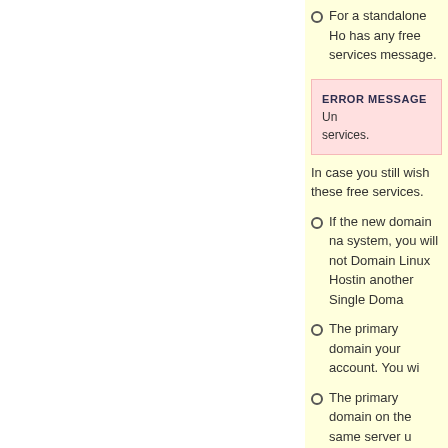For a standalone Ho... has any free services... message.
ERROR MESSAGE Un... services.
In case you still wish... these free services.
If the new domain na... system, you will not... Domain Linux Hostin... another Single Doma...
The primary domain... your account. You wi...
The primary domain... on the same server u...